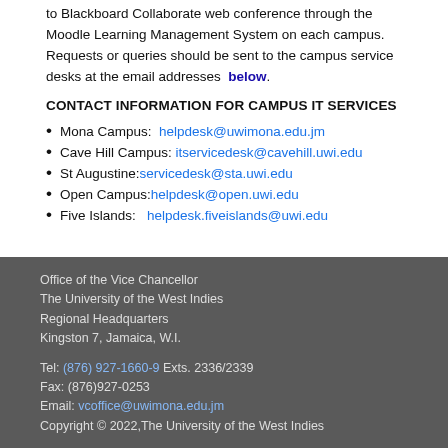Academic staff and students of The UWI have access to Blackboard Collaborate web conference through the Moodle Learning Management System on each campus. Requests or queries should be sent to the campus service desks at the email addresses below.
CONTACT INFORMATION FOR CAMPUS IT SERVICES
Mona Campus: helpdesk@uwimona.edu.jm
Cave Hill Campus: itservicedesk@cavehill.uwi.edu
St Augustine: servicedesk@sta.uwi.edu
Open Campus: helpdesk@open.uwi.edu
Five Islands: helpdesk.fiveislands@uwi.edu
Office of the Vice Chancellor
The University of the West Indies
Regional Headquarters
Kingston 7, Jamaica, W.I.

Tel: (876) 927-1660-9 Exts. 2336/2339
Fax: (876)927-0253
Email: vcoffice@uwimona.edu.jm
Copyright © 2022,The University of the West Indies